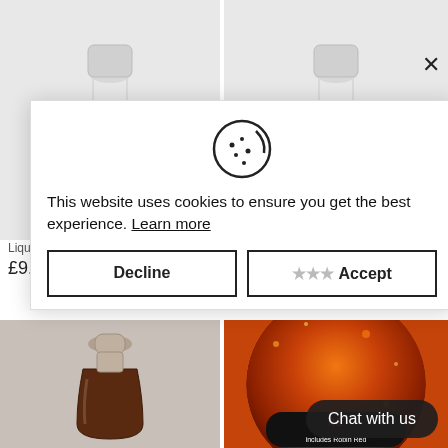[Figure (photo): White bottle product photo - Liquid Robin Red with Garlic, top left]
[Figure (photo): White bottle product photo - Liquid Robin Red with Chilli, top right]
Liquid Robin Red® with Garlic
£9.95
Liquid Robin Red® with Chilli
★★★★★ (1)
£9.95
[Figure (photo): Dark liquid in small bottle, bottom left]
[Figure (photo): Spice/powder circle image with READY MIX text, includes Robin Red, bottom right]
This website uses cookies to ensure you get the best experience. Learn more
Decline
Accept
Chat with us